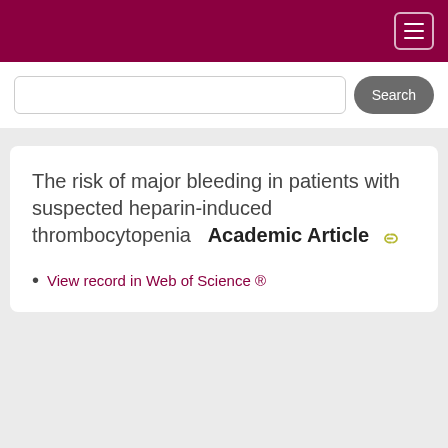The risk of major bleeding in patients with suspected heparin-induced thrombocytopenia  Academic Article
View record in Web of Science ®